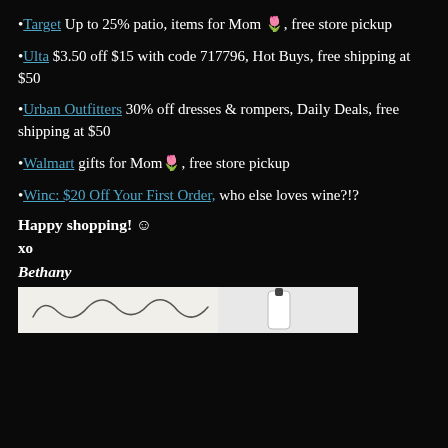•Target Up to 25% patio, items for Mom 🌷, free store pickup
•Ulta $3.50 off $15 with code 717796, Hot Buys, free shipping at $50
•Urban Outfitters 30% off dresses & rompers, Daily Deals, free shipping at $50
•Walmart gifts for Mom🌷, free store pickup
•Winc: $20 Off Your First Order, who else loves wine?!?
Happy shopping! ☺
xo
Bethany
[Figure (photo): Signature and product image at the bottom of the email]